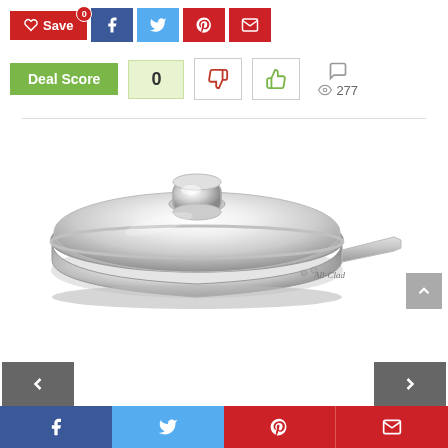[Figure (screenshot): Social sharing buttons row: Save (red), Facebook (blue), Twitter (light blue), Pinterest (red), Email (red)]
[Figure (screenshot): Deal Score widget showing 0, with thumbs down/up vote buttons, comment icon, and 277 views]
[Figure (photo): All-Clad stainless steel frying pan with lid, polished silver, with long handle and glass lid with metal knob]
[Figure (screenshot): Bottom social share bar with Facebook, Twitter, Pinterest, Email icons. Navigation arrows on sides.]